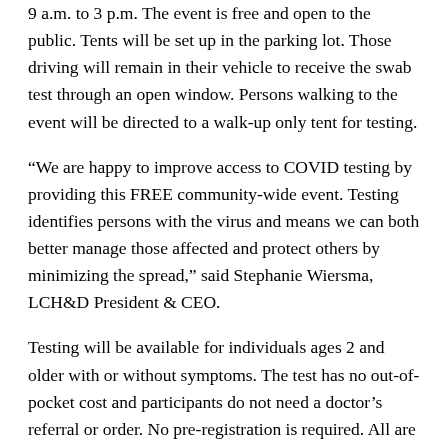9 a.m. to 3 p.m. The event is free and open to the public. Tents will be set up in the parking lot. Those driving will remain in their vehicle to receive the swab test through an open window. Persons walking to the event will be directed to a walk-up only tent for testing.
“We are happy to improve access to COVID testing by providing this FREE community-wide event. Testing identifies persons with the virus and means we can both better manage those affected and protect others by minimizing the spread,” said Stephanie Wiersma, LCH&D President & CEO.
Testing will be available for individuals ages 2 and older with or without symptoms. The test has no out-of-pocket cost and participants do not need a doctor’s referral or order. No pre-registration is required. All are welcome.
“We are glad to partner with Lorain County Health & Dentistry and the Ohio National Guard for a second free COVID-19 testing event,” said Mayor Frank Whitfield “Ensuring our community is tested and has results that allow them to make